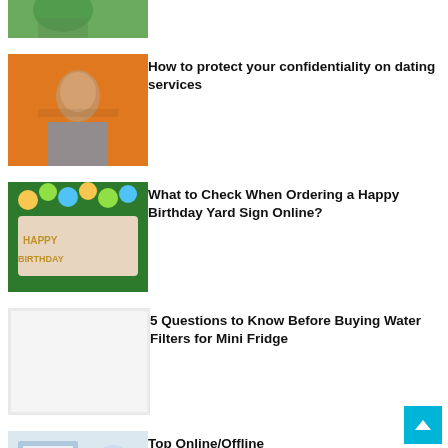[Figure (photo): Partial view of children outdoors, green background, top of page cropped]
[Figure (photo): Young woman with long dark hair against orange background, looking down]
How to protect your confidentiality on dating services
[Figure (photo): Happy Birthday yard sign balloon decoration with gold letter balloons and green/yellow balloons]
What to Check When Ordering a Happy Birthday Yard Sign Online?
[Figure (photo): Light gray/white placeholder image for water filter article]
5 Questions to Know Before Buying Water Filters for Mini Fridge
[Figure (photo): Person at desk with computer, partially visible at bottom of page]
Top Online/Offline Image Resizer Software To Crop